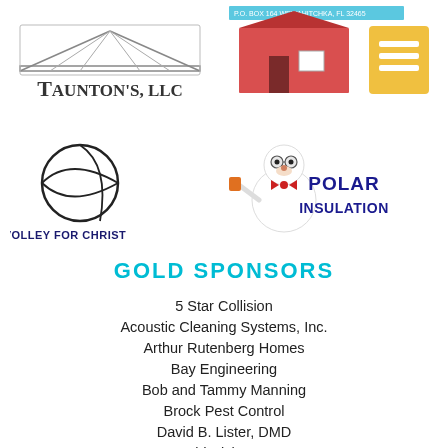[Figure (logo): Taunton's LLC logo with truss structure graphic and company name in serif font]
[Figure (logo): Building supply company logo with red barn/building graphic, P.O. Box 164 Wewahitchka FL address, and navigation menu icon]
[Figure (logo): Volley for Christ logo with volleyball graphic and text VOLLEY FOR CHRIST]
[Figure (logo): Polar Insulation logo with polar bear mascot wearing glasses and holding something, blue bold text POLAR INSULATION]
GOLD SPONSORS
5 Star Collision
Acoustic Cleaning Systems, Inc.
Arthur Rutenberg Homes
Bay Engineering
Bob and Tammy Manning
Brock Pest Control
David B. Lister, DMD
David Rich's IGA
Dermatology Associates
Deseret Cattle and Timber
Diana T. Miller-Keller Williams Realty
Dixie Horse & Mule Co.
E.F. San Juan, Inc.
Emerald Coast Federal Credit Union
Fisher's Building Supply & Construction